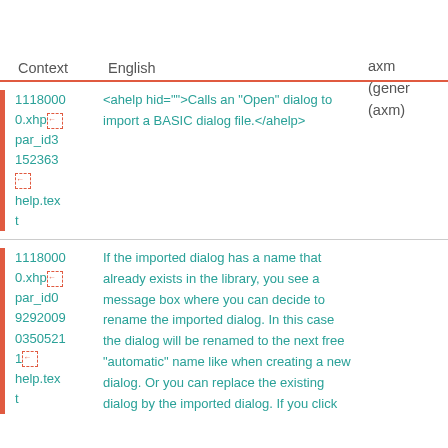axm
(gener
(axm)
| Context | English | (axm) |
| --- | --- | --- |
| 11180000.xhp
par_id3
152363

help.text | <ahelp hid="">Calls an "Open" dialog to import a BASIC dialog file.</ahelp> |  |
| 11180000.xhp
par_id0
9292009
03505211
help.text | If the imported dialog has a name that already exists in the library, you see a message box where you can decide to rename the imported dialog. In this case the dialog will be renamed to the next free "automatic" name like when creating a new dialog. Or you can replace the existing dialog by the imported dialog. If you click |  |